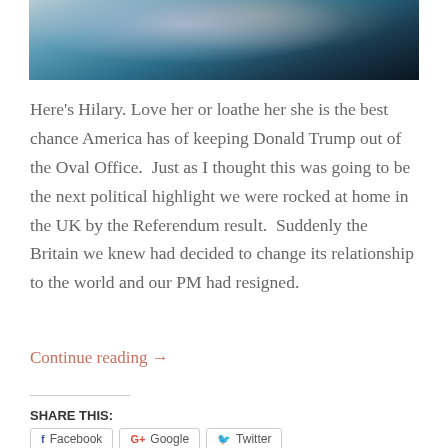[Figure (photo): Partial view of a painted portrait, likely of Hillary Clinton, with teal/blue tones and dark background, cropped at top of page]
Here's Hilary. Love her or loathe her she is the best chance America has of keeping Donald Trump out of the Oval Office.  Just as I thought this was going to be the next political highlight we were rocked at home in the UK by the Referendum result.  Suddenly the Britain we knew had decided to change its relationship to the world and our PM had resigned.
Continue reading →
SHARE THIS:
Facebook   Google   Twitter